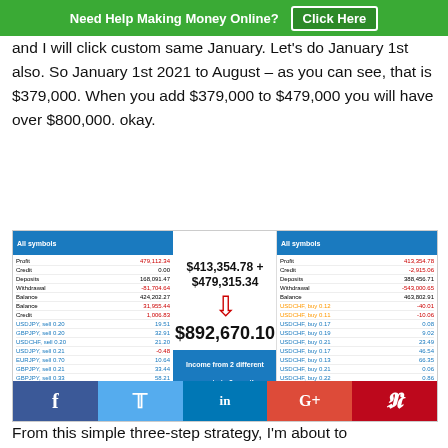Need Help Making Money Online? Click Here
and I will click custom same January. Let's do January 1st also. So January 1st 2021 to August – as you can see, that is $379,000. When you add $379,000 to $479,000 you will have over $800,000. okay.
[Figure (screenshot): Screenshot of two trading account statements side by side showing $413,354.78 + $479,315.34 = $892,670.10 with a red arrow pointing down to the total, and a blue banner reading 'Income from 2 different accounts in 8 months.' Social media share buttons (Facebook, Twitter, LinkedIn, Google+, Pinterest) at the bottom.]
From this simple three-step strategy, I'm about to